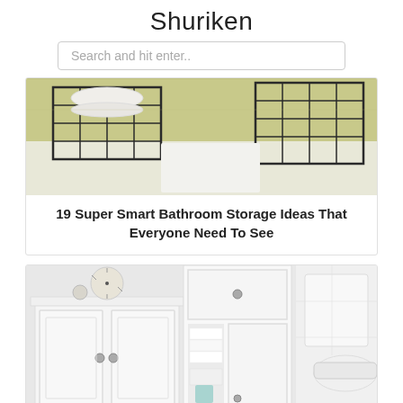Shuriken
Search and hit enter..
[Figure (photo): Bathroom with wire baskets on bathtub/counter holding toiletries, yellow-green wall tiles visible in background]
19 Super Smart Bathroom Storage Ideas That Everyone Need To See
[Figure (photo): White bathroom storage cabinet with decorative sea urchin on top, next to a tall narrow cabinet with open door showing towels and toiletries, and a white toilet visible on right]